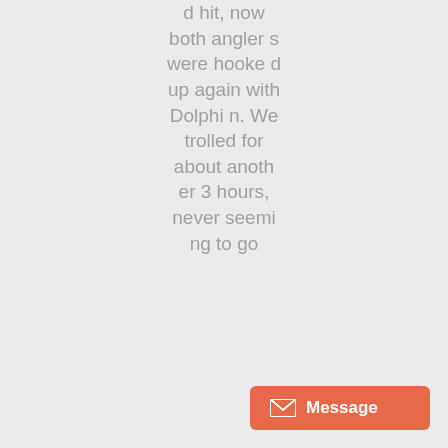d hit, now both anglers were hooked up again with Dolphin. We trolled for about another 3 hours, never seeming to go
[Figure (other): Message button UI element with envelope icon and orange background]